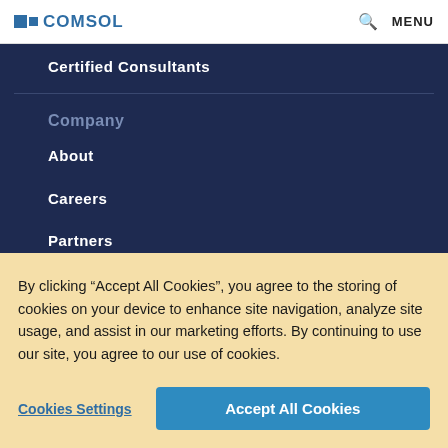COMSOL  [search icon]  MENU
Certified Consultants
Company
About
Careers
Partners
By clicking “Accept All Cookies”, you agree to the storing of cookies on your device to enhance site navigation, analyze site usage, and assist in our marketing efforts. By continuing to use our site, you agree to our use of cookies.
Cookies Settings  |  Accept All Cookies